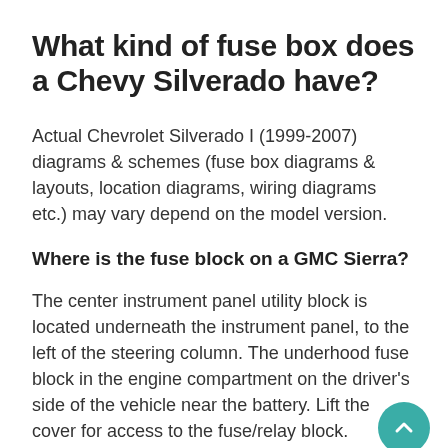What kind of fuse box does a Chevy Silverado have?
Actual Chevrolet Silverado I (1999-2007) diagrams & schemes (fuse box diagrams & layouts, location diagrams, wiring diagrams etc.) may vary depend on the model version.
Where is the fuse block on a GMC Sierra?
The center instrument panel utility block is located underneath the instrument panel, to the left of the steering column. The underhood fuse block in the engine compartment on the driver's side of the vehicle near the battery. Lift the cover for access to the fuse/relay block.